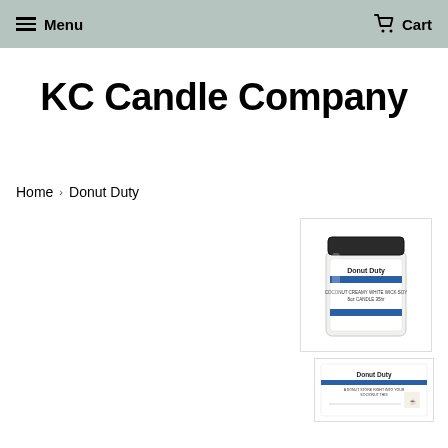Menu  Cart
KC Candle Company
Home › Donut Duty
[Figure (photo): A glass jar candle labeled 'Donut Duty' with a dark lid and a blue stripe on the label]
[Figure (photo): Thumbnail view of the Donut Duty candle label showing product name and description text]